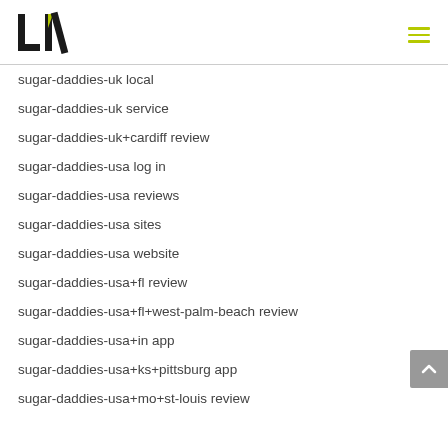[Figure (logo): LIV logo with black L and dark slash, green accent mark]
sugar-daddies-uk local
sugar-daddies-uk service
sugar-daddies-uk+cardiff review
sugar-daddies-usa log in
sugar-daddies-usa reviews
sugar-daddies-usa sites
sugar-daddies-usa website
sugar-daddies-usa+fl review
sugar-daddies-usa+fl+west-palm-beach review
sugar-daddies-usa+in app
sugar-daddies-usa+ks+pittsburg app
sugar-daddies-usa+mo+st-louis review